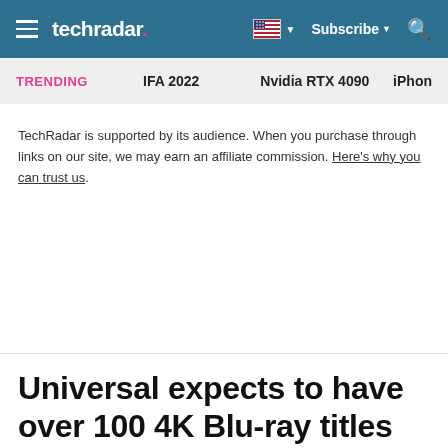techradar — Subscribe
TRENDING   IFA 2022   Nvidia RTX 4090   iPhon
TechRadar is supported by its audience. When you purchase through links on our site, we may earn an affiliate commission. Here's why you can trust us.
Universal expects to have over 100 4K Blu-ray titles out by year's end